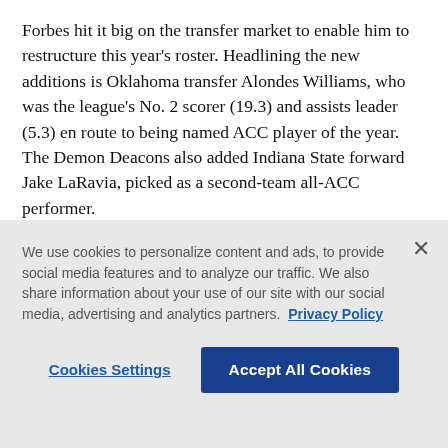Forbes hit it big on the transfer market to enable him to restructure this year's roster. Headlining the new additions is Oklahoma transfer Alondes Williams, who was the league's No. 2 scorer (19.3) and assists leader (5.3) en route to being named ACC player of the year. The Demon Deacons also added Indiana State forward Jake LaRavia, picked as a second-team all-ACC performer.
“Him being on us everyday in practice and seeing how much he cares about this game ... it was just great
We use cookies to personalize content and ads, to provide social media features and to analyze our traffic. We also share information about your use of our site with our social media, advertising and analytics partners. Privacy Policy